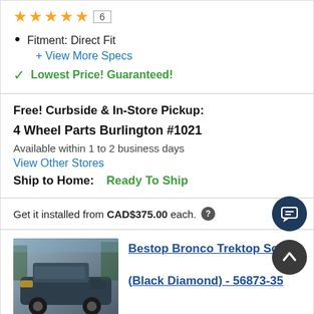[Figure (other): Star rating: 4.5 stars out of 5, with review count [6] in a box]
Fitment: Direct Fit
+ View More Specs
✓ Lowest Price! Guaranteed!
Free! Curbside & In-Store Pickup:
4 Wheel Parts Burlington #1021
Available within 1 to 2 business days
View Other Stores
Ship to Home:   Ready To Ship
Get it installed from CAD$375.00 each.
[Figure (photo): Photo of a Ford Bronco with a Bestop Trektop soft top in Black Diamond color, viewed from the rear-side in an outdoor setting]
Bestop Bronco Trektop Soft T (Black Diamond) - 56873-35